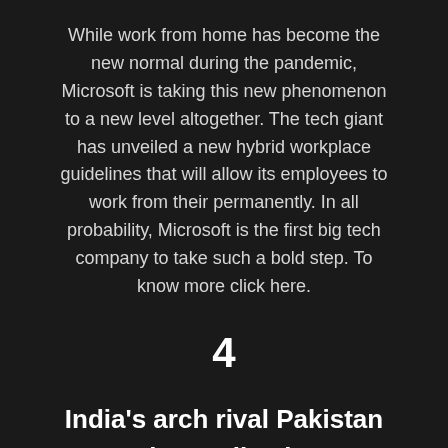While work from home has become the new normal during the pandemic, Microsoft is taking this new phenomenon to a new level altogether. The tech giant has unveiled a new hybrid workplace guidelines that will allow its employees to work from their permanently. In all probability, Microsoft is the first big tech company to take such a bold step. To know more click here.
4
India's arch rival Pakistan bans TikTok